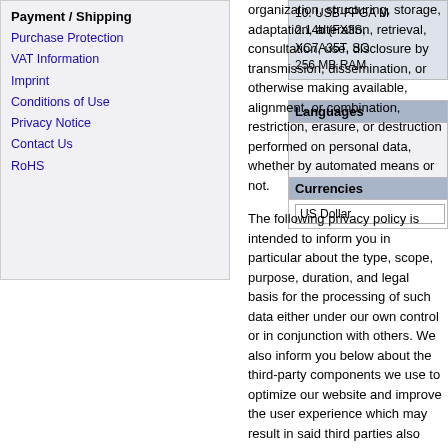Payment / Shipping
Purchase Protection
VAT Information
Imprint
Conditions of Use
Privacy Notice
Contact Us
RoHS
organization, structuring, storage, adaptation, alteration, retrieval, consultation, use, disclosure by transmission, dissemination, or otherwise making available, alignment, or combination, restriction, erasure, or destruction performed on personal data, whether by automated means or not.
The following privacy policy is intended to inform you in particular about the type, scope, purpose, duration, and legal basis for the processing of such data either under our own control or in conjunction with others. We also inform you below about the third-party components we use to optimize our website and improve the user experience which may result in said third parties also processing data they collect and control.
Our privacy policy is structured
10. USB-FPGA M 2.14b (FX3S, XC7A35T, SO 256 MB RAM
Languages
Currencies
US Dollar